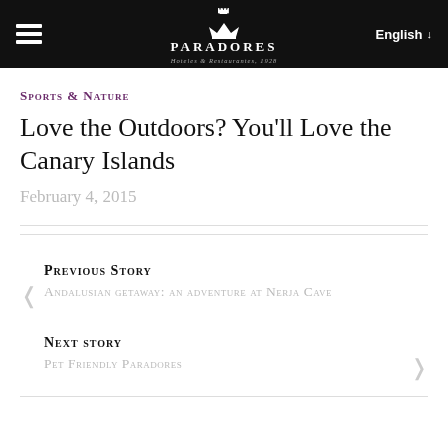PARADORES Hoteles & Restaurantes, 1928 | English
Sports & Nature
Love the Outdoors? You'll Love the Canary Islands
February 4, 2015
Previous Story
Andalusian getaway: an adventure at Nerja Cave
Next story
Pet Friendly Paradores